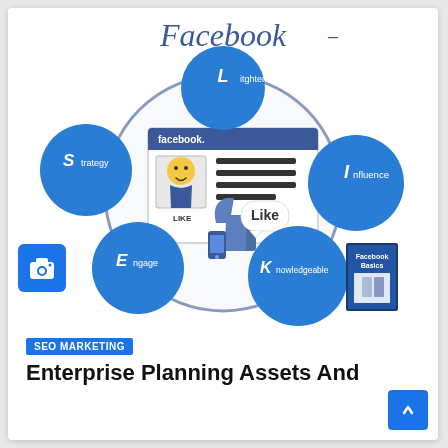[Figure (infographic): Facebook marketing infographic showing a circular diagram with a Facebook profile card in the center, surrounded by 4 blue circle nodes labeled: Litghten Up (top), Influence (right), Knowledgeable (bottom right), Engage (bottom left), Strategy (left). A 'Like' thumbs-up graphic overlaps the center. 'Facebook' text appears at top. A 'Facebook Basics' book cover appears bottom right. A camera icon appears bottom left.]
SEO MARKETING
Enterprise Planning Assets And